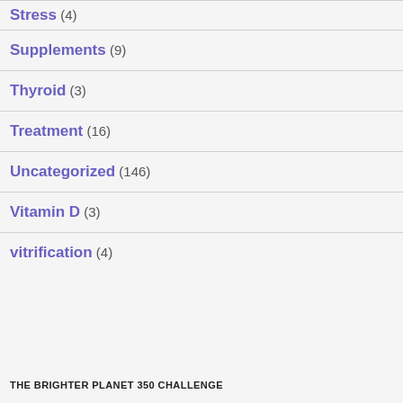Stress (4)
Supplements (9)
Thyroid (3)
Treatment (16)
Uncategorized (146)
Vitamin D (3)
vitrification (4)
THE BRIGHTER PLANET 350 CHALLENGE